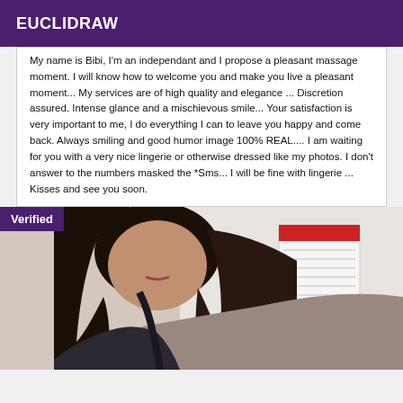EUCLIDRAW
My name is Bibi, I'm an independant and I propose a pleasant massage moment. I will know how to welcome you and make you live a pleasant moment... My services are of high quality and elegance ... Discretion assured. Intense glance and a mischievous smile... Your satisfaction is very important to me, I do everything I can to leave you happy and come back. Always smiling and good humor image 100% REAL.... I am waiting for you with a very nice lingerie or otherwise dressed like my photos. I don't answer to the numbers masked the *Sms... I will be fine with lingerie ... Kisses and see you soon.
[Figure (photo): Photo of a woman with dark hair, partially visible, with a 'Verified' badge overlay in the top-left corner. Background shows a white wall with some paper/calendar on it.]